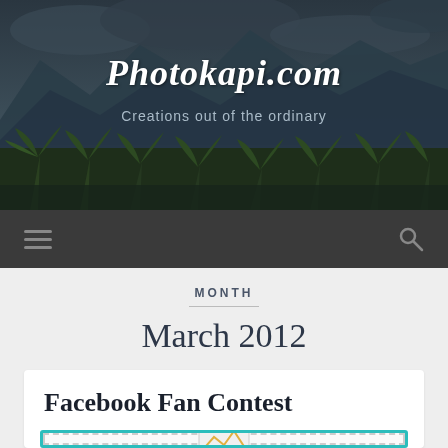[Figure (screenshot): Website header banner with mountain landscape background, tropical palm trees, dark cloudy sky]
Photokapi.com
Creations out of the ordinary
[Figure (other): Navigation bar with hamburger menu icon on left and search icon on right]
MONTH
March 2012
Facebook Fan Contest
[Figure (other): Teal bordered image placeholder with dashed inner border]